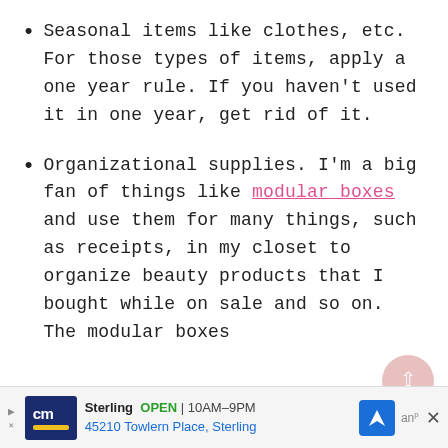Seasonal items like clothes, etc. For those types of items, apply a one year rule. If you haven't used it in one year, get rid of it.
Organizational supplies. I'm a big fan of things like modular boxes and use them for many things, such as receipts, in my closet to organize beauty products that I bought while on sale and so on. The modular boxes
[Figure (other): Advertisement bar for CM (Conn's HomePlus or similar) showing store in Sterling, OPEN 10AM-9PM, address 45210 Towlern Place, Sterling, with navigation icon and close button]